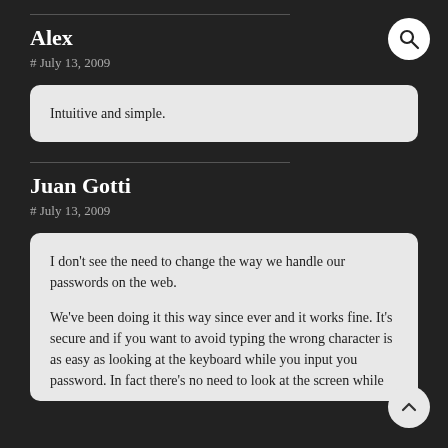Alex
# July 13, 2009
Intuitive and simple.
Juan Gotti
# July 13, 2009
I don't see the need to change the way we handle our passwords on the web.

We've been doing it this way since ever and it works fine. It's secure and if you want to avoid typing the wrong character is as easy as looking at the keyboard while you input you password. In fact there's no need to look at the screen while